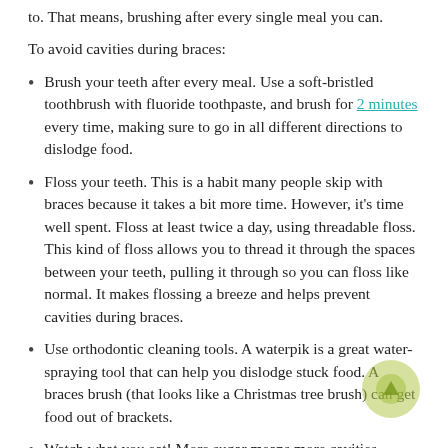to. That means, brushing after every single meal you can.
To avoid cavities during braces:
Brush your teeth after every meal. Use a soft-bristled toothbrush with fluoride toothpaste, and brush for 2 minutes every time, making sure to go in all different directions to dislodge food.
Floss your teeth. This is a habit many people skip with braces because it takes a bit more time. However, it's time well spent. Floss at least twice a day, using threadable floss. This kind of floss allows you to thread it through the spaces between your teeth, pulling it through so you can floss like normal. It makes flossing a breeze and helps prevent cavities during braces.
Use orthodontic cleaning tools. A waterpik is a great water-spraying tool that can help you dislodge stuck food. A braces brush (that looks like a Christmas tree brush) can get food out of brackets.
Watch what you eat! More sugar means more cavities during braces. Limit how much sugar you eat. You want to avoid sticky, sugary foods such as taffy, Starbursts, dried fruit, gummies,